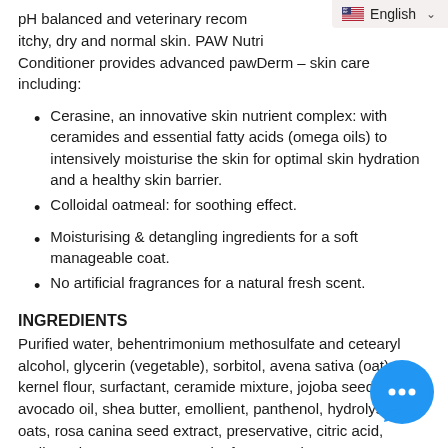pH balanced and veterinary recommended for itchy, dry and normal skin. PAW Nutri Conditioner provides advanced pawDerm – skin care including:
Cerasine, an innovative skin nutrient complex: with ceramides and essential fatty acids (omega oils) to intensively moisturise the skin for optimal skin hydration and a healthy skin barrier.
Colloidal oatmeal: for soothing effect.
Moisturising & detangling ingredients for a soft manageable coat.
No artificial fragrances for a natural fresh scent.
INGREDIENTS
Purified water, behentrimonium methosulfate and cetearyl alcohol, glycerin (vegetable), sorbitol, avena sativa (oat) kernel flour, surfactant, ceramide mixture, jojoba seed oil, avocado oil, shea butter, emollient, panthenol, hydrolysed oats, rosa canina seed extract, preservative, citric acid, sodium gluconate, rosemary leaf extract mixture.
To learn more, click Blackmores Paw Nutriderm Replenishing Conditioner For Dogs & Cats